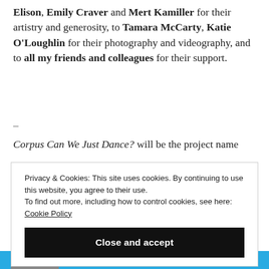Elison, Emily Craver and Mert Kamiller for their artistry and generosity, to Tamara McCarty, Katie O'Loughlin for their photography and videography, and to all my friends and colleagues for their support.
–
Corpus Can We Just Dance? will be the project name
Privacy & Cookies: This site uses cookies. By continuing to use this website, you agree to their use.
To find out more, including how to control cookies, see here:
Cookie Policy
Close and accept